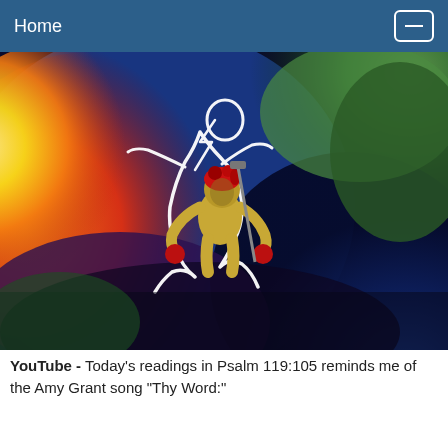Home
[Figure (illustration): Colorful digital painting showing a muscular figure crouching, with red wounds/markings on the head and hands, surrounded by a glowing white outline of another figure. The background is an abstract blend of yellow, orange, red, green, and deep blue/purple colors.]
YouTube - Today's readings in Psalm 119:105 reminds me of the Amy Grant song "Thy Word:"